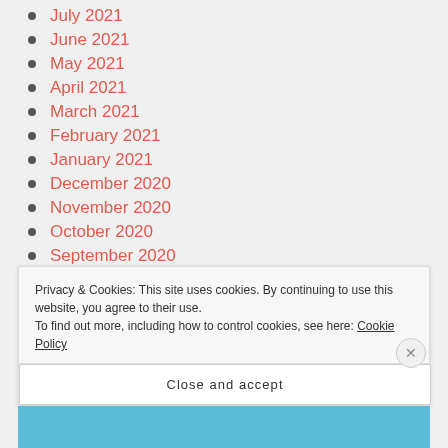July 2021
June 2021
May 2021
April 2021
March 2021
February 2021
January 2021
December 2020
November 2020
October 2020
September 2020
August 2020
Privacy & Cookies: This site uses cookies. By continuing to use this website, you agree to their use. To find out more, including how to control cookies, see here: Cookie Policy
Close and accept